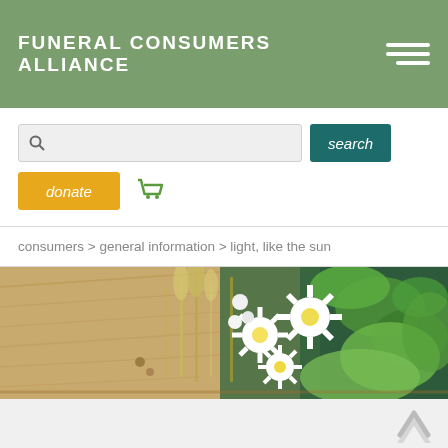FUNERAL CONSUMERS ALLIANCE
search
donate
consumers > general information > light, like the sun
[Figure (photo): Close-up photo of white daisy flowers and green foliage arranged on a wooden casket surface with a green fabric background]
TOPICS